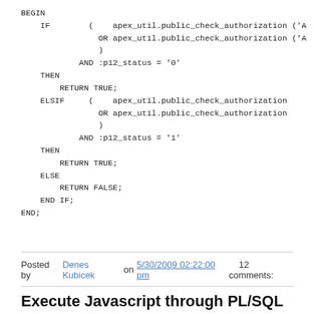BEGIN
    IF        ( apex_util.public_check_authorization ('A
                OR apex_util.public_check_authorization ('A
                )
            AND :p12_status = '0'
    THEN
        RETURN TRUE;
    ELSIF     ( apex_util.public_check_authorization
                OR apex_util.public_check_authorization
                )
            AND :p12_status = '1'
    THEN
        RETURN TRUE;
    ELSE
        RETURN FALSE;
    END IF;
END;
Posted by Denes Kubicek on 5/30/2009 02:22:00 pm     12 comments:
Execute Javascript through PL/SQL